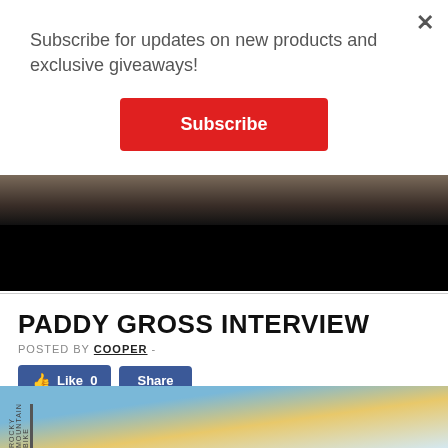Subscribe for updates on new products and exclusive giveaways!
Subscribe
[Figure (screenshot): Dark video player screenshot showing blurred figure at top and black area below]
PADDY GROSS INTERVIEW
POSTED BY COOPER -
[Figure (screenshot): Facebook Like (0) and Share buttons row]
Over on BMX Union Paddy has a in-depth and great interview about BMX and life in general. Paddy has had a pretty action packed life so it's well worth the read. Check it here.
[Figure (photo): Outdoor sky photo with clouds and a thin pole/antenna visible at bottom of page]